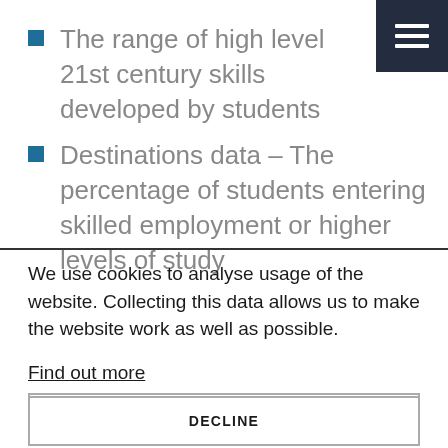The range of high level 21st century skills developed by students
Destinations data – The percentage of students entering skilled employment or higher levels of study
We use cookies to analyse usage of the website. Collecting this data allows us to make the website work as well as possible.
Find out more
ACCEPT ALL COOKIES
DECLINE